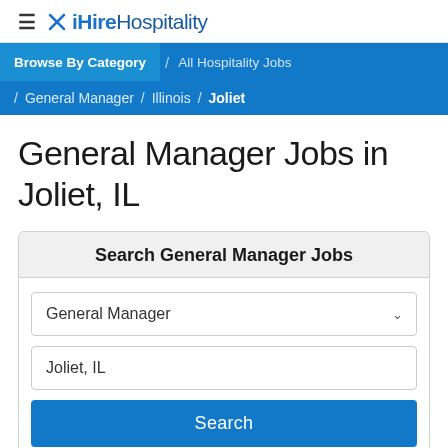≡ ✕ iHireHospitality
Browse By Category / All Hospitality Jobs / General Manager / Illinois / Joliet
General Manager Jobs in Joliet, IL
Search General Manager Jobs
General Manager
Joliet, IL
Search